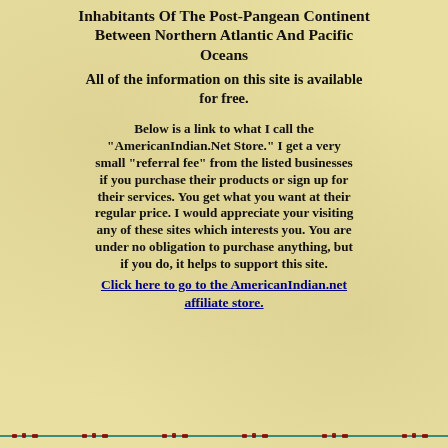Inhabitants Of The Post-Pangean Continent Between Northern Atlantic And Pacific Oceans
All of the information on this site is available for free.
Below is a link to what I call the "AmericanIndian.Net Store." I get a very small "referral fee" from the listed businesses if you purchase their products or sign up for their services. You get what you want at their regular price. I would appreciate your visiting any of these sites which interests you. You are under no obligation to purchase anything, but if you do, it helps to support this site.
Click here to go to the AmericanIndian.net affiliate store.